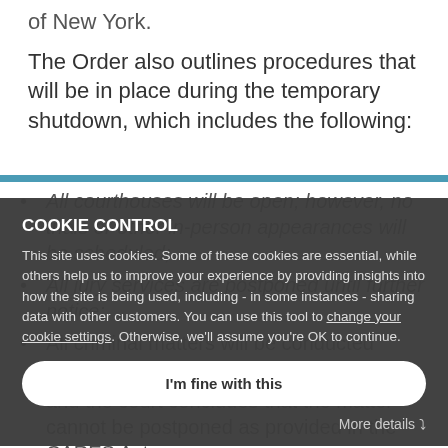of New York.
The Order also outlines procedures that will be in place during the temporary shutdown, which includes the following:
All courthouses will be open; however, no trials or other in-person appearances will be scheduled;
All jury services are postponed until further notice;
All criminal matters will be conducted remotely unless the defendant declines to
and the court concludes that the matter cannot be postponed as provided in the CARES Act;
COOKIE CONTROL
This site uses cookies. Some of these cookies are essential, while others help us to improve your experience by providing insights into how the site is being used, including - in some instances - sharing data with other customers. You can use this tool to change your cookie settings. Otherwise, we'll assume you're OK to continue.
I'm fine with this
More details